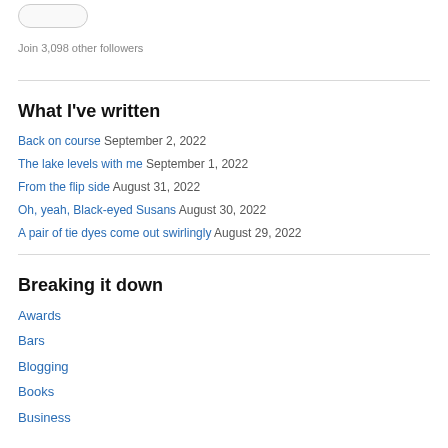[Figure (illustration): Rounded rectangle button outline, resembling a follow/subscribe button widget]
Join 3,098 other followers
What I've written
Back on course September 2, 2022
The lake levels with me September 1, 2022
From the flip side August 31, 2022
Oh, yeah, Black-eyed Susans August 30, 2022
A pair of tie dyes come out swirlingly August 29, 2022
Breaking it down
Awards
Bars
Blogging
Books
Business